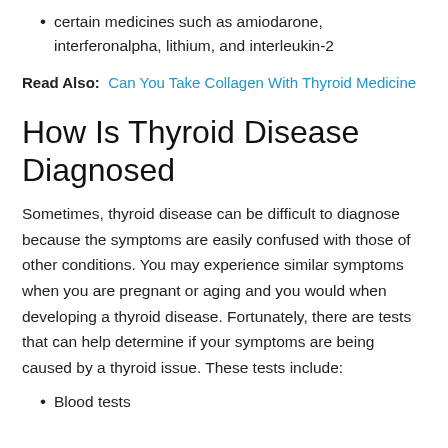certain medicines such as amiodarone, interferonalpha, lithium, and interleukin-2
Read Also: Can You Take Collagen With Thyroid Medicine
How Is Thyroid Disease Diagnosed
Sometimes, thyroid disease can be difficult to diagnose because the symptoms are easily confused with those of other conditions. You may experience similar symptoms when you are pregnant or aging and you would when developing a thyroid disease. Fortunately, there are tests that can help determine if your symptoms are being caused by a thyroid issue. These tests include:
Blood tests